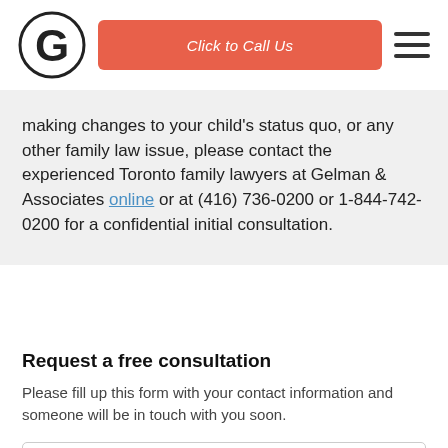[Figure (logo): Gelman & Associates circular G logo]
[Figure (other): Click to Call Us button in salmon/red color]
[Figure (other): Hamburger menu icon]
making changes to your child's status quo, or any other family law issue, please contact the experienced Toronto family lawyers at Gelman & Associates online or at (416) 736-0200 or 1-844-742-0200 for a confidential initial consultation.
Request a free consultation
Please fill up this form with your contact information and someone will be in touch with you soon.
Name